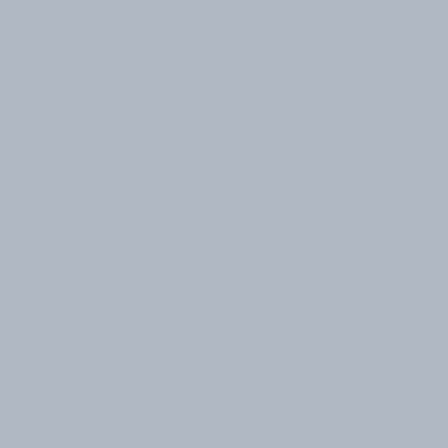2. Ten Mile River Trader » Blog Archive » Family Camp Will be Open in 2008 says: December 26, 2007 at 10:34 pm
[...] Camp closing: http://www.tenmilerivertrader.com/trackback.php?p=83 I am not sure